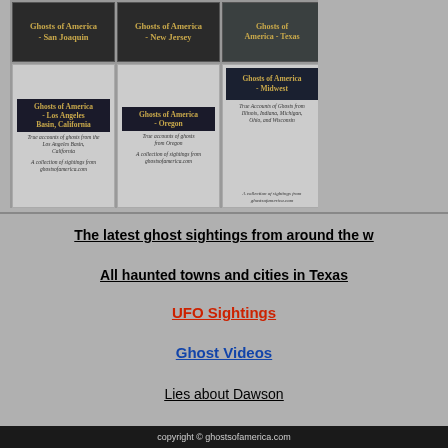[Figure (illustration): Grid of ghost book covers: Ghosts of America - San Joaquin, Ghosts of America - New Jersey, Ghosts of America - Texas, Ghosts of America - Los Angeles Basin California, Ghosts of America - Oregon, Ghosts of America - Midwest]
The latest ghost sightings from around the w...
All haunted towns and cities in Texas
UFO Sightings
Ghost Videos
Lies about Dawson
copyright © ghostsofamerica.com